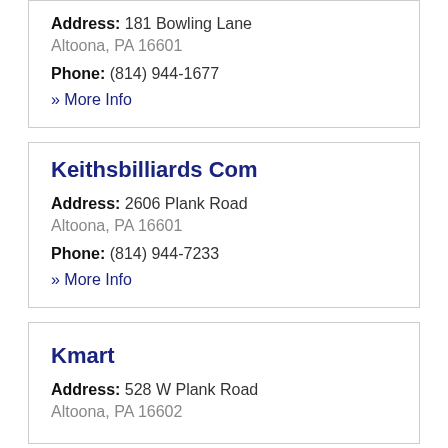Address: 181 Bowling Lane
Altoona, PA 16601
Phone: (814) 944-1677
» More Info
Keithsbilliards Com
Address: 2606 Plank Road
Altoona, PA 16601
Phone: (814) 944-7233
» More Info
Kmart
Address: 528 W Plank Road
Altoona, PA 16602